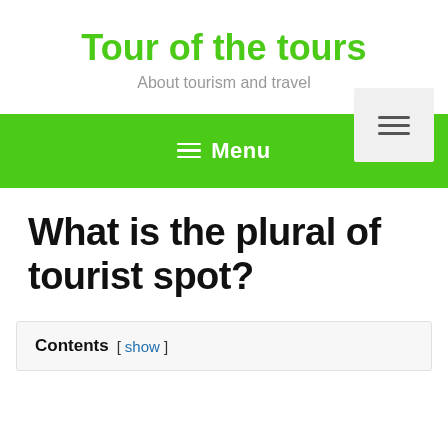Tour of the tours
About tourism and travel
≡ Menu
What is the plural of tourist spot?
Contents [ show ]